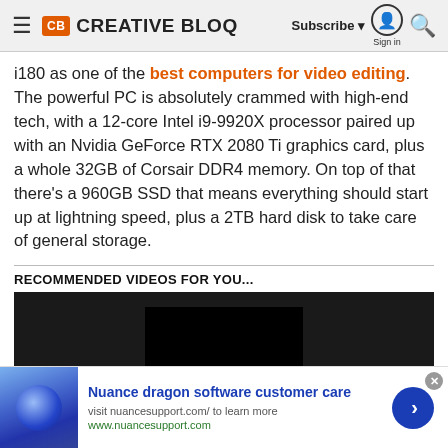Creative Bloq — Subscribe | Sign in | Search
i180 as one of the best computers for video editing. The powerful PC is absolutely crammed with high-end tech, with a 12-core Intel i9-9920X processor paired up with an Nvidia GeForce RTX 2080 Ti graphics card, plus a whole 32GB of Corsair DDR4 memory. On top of that there's a 960GB SSD that means everything should start up at lightning speed, plus a 2TB hard disk to take care of general storage.
RECOMMENDED VIDEOS FOR YOU...
[Figure (screenshot): Embedded video player with dark background]
[Figure (screenshot): Advertisement banner: Nuance dragon software customer care — visit nuancesupport.com/ to learn more — www.nuancesupport.com]